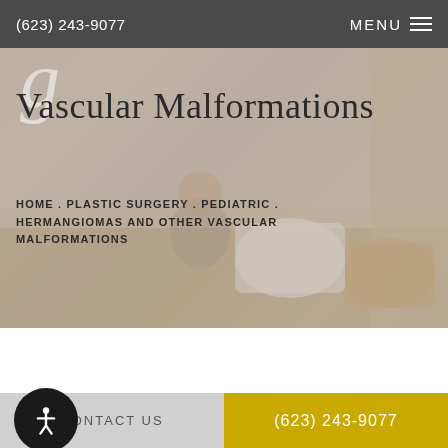(623) 243-9077  MENU
Vascular Malformations
HOME . PLASTIC SURGERY . PEDIATRIC . HERMANGIOMAS AND OTHER VASCULAR MALFORMATIONS
[Figure (photo): Background photo of a parent and child sitting on a floor, with laundry baskets, overlaid with semi-transparent warm tint]
genital vascular malformation is a kind of mark or congenital growth involving blood
CONTACT US   (623) 243-9077